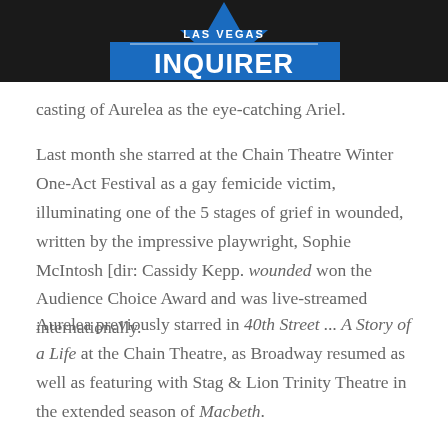LAS VEGAS INQUIRER
casting of Aurelea as the eye-catching Ariel.
Last month she starred at the Chain Theatre Winter One-Act Festival as a gay femicide victim, illuminating one of the 5 stages of grief in wounded, written by the impressive playwright, Sophie McIntosh [dir: Cassidy Kepp. wounded won the Audience Choice Award and was live-streamed internationally.
Aurelea previously starred in 40th Street ... A Story of a Life at the Chain Theatre, as Broadway resumed as well as featuring with Stag & Lion Trinity Theatre in the extended season of Macbeth.